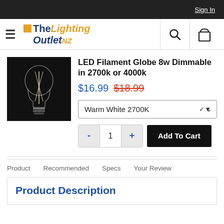Sign In
[Figure (logo): The Lighting Outlet NZ logo with hamburger menu, search and cart icons]
[Figure (photo): LED filament globe bulb on black background]
LED Filament Globe 8w Dimmable in 2700k or 4000k
$16.99  $18.99
Warm White 2700K
- 1 + Add To Cart
Product   Recommended   Specs   Your Review
Product Description